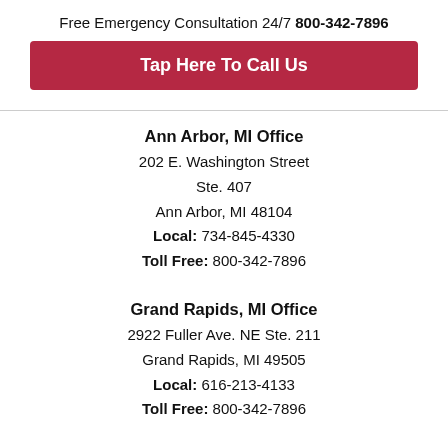Free Emergency Consultation 24/7 800-342-7896
Tap Here To Call Us
Ann Arbor, MI Office
202 E. Washington Street
Ste. 407
Ann Arbor, MI 48104
Local: 734-845-4330
Toll Free: 800-342-7896
Grand Rapids, MI Office
2922 Fuller Ave. NE Ste. 211
Grand Rapids, MI 49505
Local: 616-213-4133
Toll Free: 800-342-7896